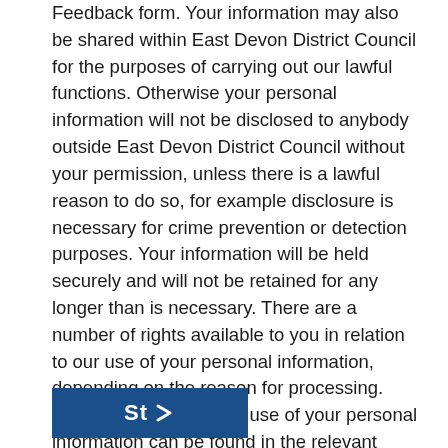Feedback form. Your information may also be shared within East Devon District Council for the purposes of carrying out our lawful functions. Otherwise your personal information will not be disclosed to anybody outside East Devon District Council without your permission, unless there is a lawful reason to do so, for example disclosure is necessary for crime prevention or detection purposes. Your information will be held securely and will not be retained for any longer than is necessary. There are a number of rights available to you in relation to our use of your personal information, depending on the reason for processing. Further detail about our use of your personal information can be found in the relevant Privacy Notice which can be accessed here.
[Figure (other): Blue button with white text and arrow, partially visible at bottom of page]